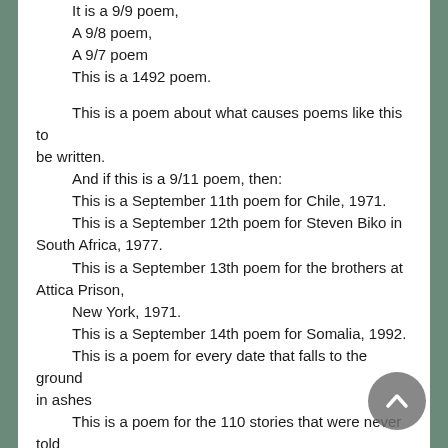This is a 9/9 poem,
A 9/8 poem,
A 9/7 poem
This is a 1492 poem.

This is a poem about what causes poems like this to be written.
And if this is a 9/11 poem, then:
This is a September 11th poem for Chile, 1971.
This is a September 12th poem for Steven Biko in South Africa, 1977.
This is a September 13th poem for the brothers at Attica Prison,
New York, 1971.
This is a September 14th poem for Somalia, 1992.
This is a poem for every date that falls to the ground in ashes
This is a poem for the 110 stories that were never told
The 110 stories that history chose not to write in